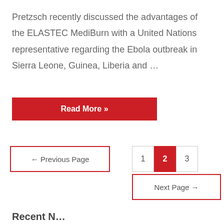Pretzsch recently discussed the advantages of the ELASTEC MediBurn with a United Nations representative regarding the Ebola outbreak in Sierra Leone, Guinea, Liberia and …
Read More »
← Previous Page
1
2
3
Next Page →
Recent N…